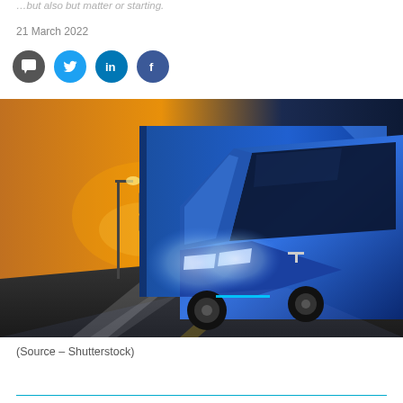…but also but matter or starting.
21 March 2022
[Figure (other): Social media share icons: comment/chat (dark grey), Twitter (blue bird), LinkedIn (blue 'in'), Facebook (blue 'f')]
[Figure (photo): A blue Tesla Semi electric truck driving on a highway at night/dusk, with dramatic lighting, street lights, and highway signs visible in the background. The truck features a distinctive aerodynamic cab design with bright LED headlights.]
(Source – Shutterstock)